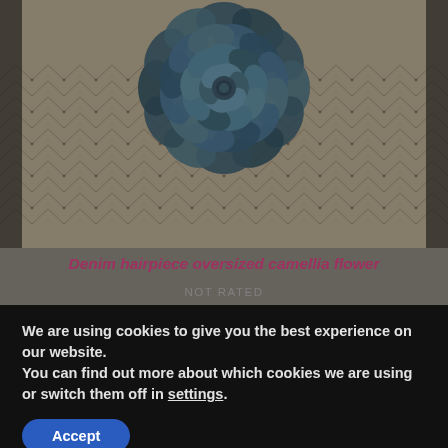[Figure (photo): A denim fabric oversized camellia flower hairpiece with blue petals, placed on a beige net/veil background with diamond mesh pattern.]
Denim hairpiece oversized camellia flower
NOT RATED
We are using cookies to give you the best experience on our website.
You can find out more about which cookies we are using or switch them off in settings.
Accept